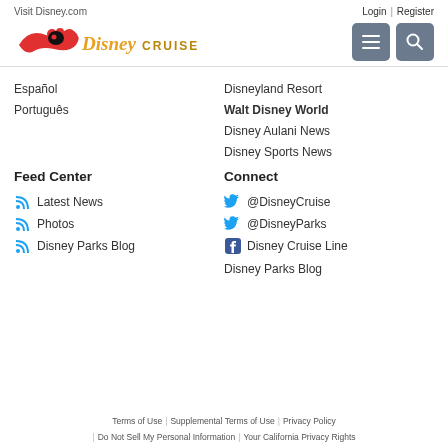Visit Disney.com
Login | Register
[Figure (logo): Disney Cruise Line logo with Mickey Mouse and red wave]
Español
Português
Disneyland Resort
Walt Disney World
Disney Aulani News
Disney Sports News
Feed Center
Connect
Latest News
Photos
Disney Parks Blog
@DisneyCruise
@DisneyParks
Disney Cruise Line
Disney Parks Blog
Terms of Use | Supplemental Terms of Use | Privacy Policy | Do Not Sell My Personal Information | Your California Privacy Rights